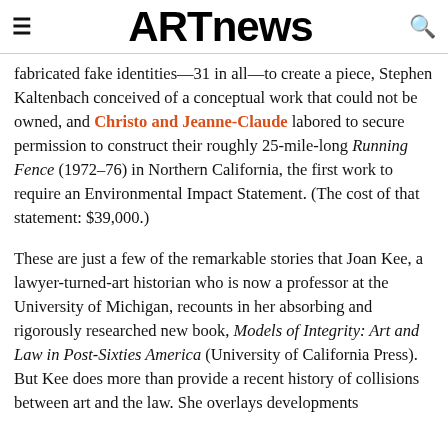ARTnews
fabricated fake identities—31 in all—to create a piece, Stephen Kaltenbach conceived of a conceptual work that could not be owned, and Christo and Jeanne-Claude labored to secure permission to construct their roughly 25-mile-long Running Fence (1972–76) in Northern California, the first work to require an Environmental Impact Statement. (The cost of that statement: $39,000.)

These are just a few of the remarkable stories that Joan Kee, a lawyer-turned-art historian who is now a professor at the University of Michigan, recounts in her absorbing and rigorously researched new book, Models of Integrity: Art and Law in Post-Sixties America (University of California Press). But Kee does more than provide a recent history of collisions between art and the law. She overlays developments